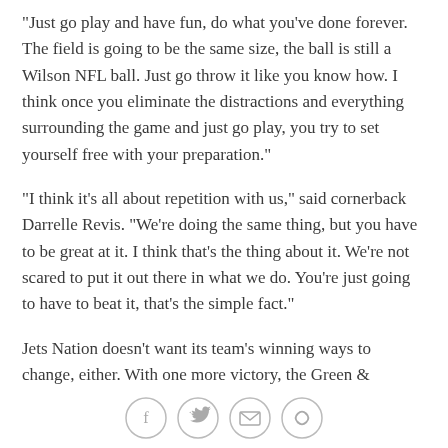"Just go play and have fun, do what you've done forever. The field is going to be the same size, the ball is still a Wilson NFL ball. Just go throw it like you know how. I think once you eliminate the distractions and everything surrounding the game and just go play, you try to set yourself free with your preparation."
"I think it's all about repetition with us," said cornerback Darrelle Revis. "We're doing the same thing, but you have to be great at it. I think that's the thing about it. We're not scared to put it out there in what we do. You're just going to have to beat it, that's the simple fact."
Jets Nation doesn't want its team's winning ways to change, either. With one more victory, the Green &
[Figure (infographic): Social sharing icons: Facebook, Twitter, Email, Link/chain]